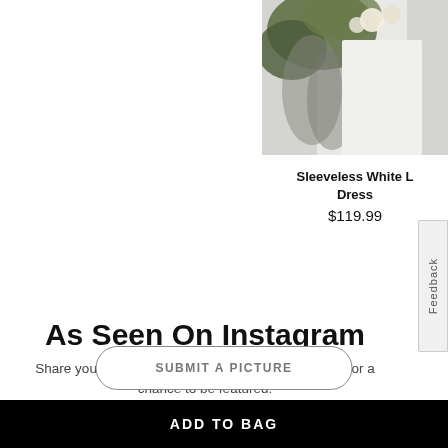[Figure (photo): Partial product photo of a person in a white sleeveless dress holding greenery/flowers, cropped at top-right]
Sleeveless White L Dress
$119.99
As Seen On Instagram
Share your style with #WHBMSTYLE and @WHBM for a chance to be featured.
SUBMIT A PICTURE
ADD TO BAG